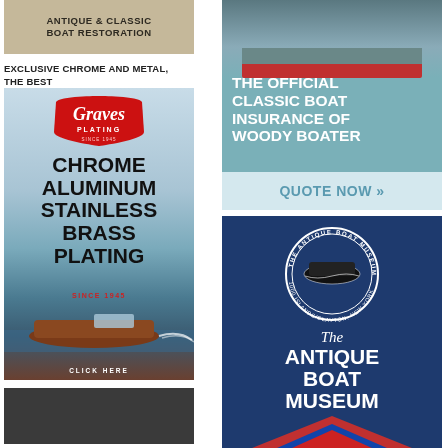[Figure (illustration): Advertisement banner: Antique & Classic Boat Restoration, tan/beige background]
EXCLUSIVE CHROME AND METAL, THE BEST
[Figure (illustration): Graves Plating advertisement: Chrome Aluminum Stainless Brass Plating Since 1945, with classic wooden boat image]
[Figure (illustration): Small dark advertisement at bottom left]
[Figure (illustration): The Official Classic Boat Insurance of Woody Boater advertisement with Quote Now call to action]
[Figure (illustration): The Antique Boat Museum advertisement, 1000 Islands/Clayton New York, dark blue background with circular logo and boat bow]